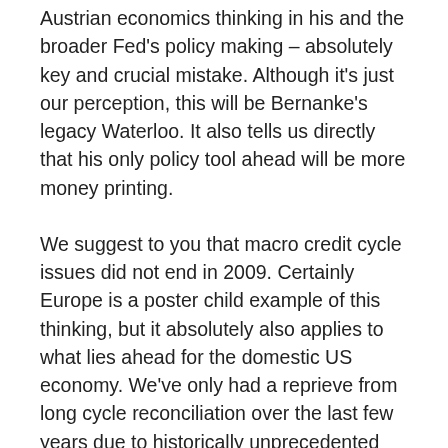Austrian economics thinking in his and the broader Fed's policy making – absolutely key and crucial mistake. Although it's just our perception, this will be Bernanke's legacy Waterloo. It also tells us directly that his only policy tool ahead will be more money printing.
We suggest to you that macro credit cycle issues did not end in 2009. Certainly Europe is a poster child example of this thinking, but it absolutely also applies to what lies ahead for the domestic US economy. We've only had a reprieve from long cycle reconciliation over the last few years due to historically unprecedented Government and Federal Reserve balance sheet levering, which itself is unsustainable longer term. Has the election